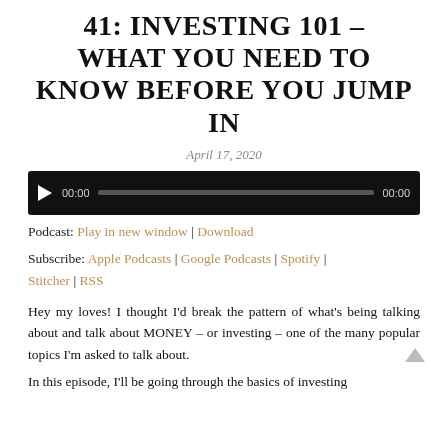41: INVESTING 101 – WHAT YOU NEED TO KNOW BEFORE YOU JUMP IN
April 17, 2020
[Figure (other): Podcast audio player with play button, timestamp 00:00, progress bar, and end time 00:00 on dark background]
Podcast: Play in new window | Download
Subscribe: Apple Podcasts | Google Podcasts | Spotify | Stitcher | RSS
Hey my loves! I thought I'd break the pattern of what's being talking about and talk about MONEY – or investing – one of the many popular topics I'm asked to talk about.
In this episode, I'll be going through the basics of investing